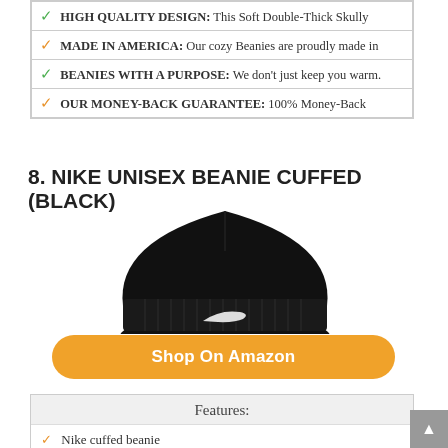| ✓ HIGH QUALITY DESIGN: This Soft Double-Thick Skully |
| ✓ MADE IN AMERICA: Our cozy Beanies are proudly made in |
| ✓ BEANIES WITH A PURPOSE: We don't just keep you warm. |
| ✓ OUR MONEY-BACK GUARANTEE: 100% Money-Back |
8. NIKE UNISEX BEANIE CUFFED (BLACK)
[Figure (photo): Black Nike cuffed beanie with white Nike swoosh logo on the cuff, shown on white background]
Shop On Amazon
| Features: |
| --- |
| ✓ Nike cuffed beanie |